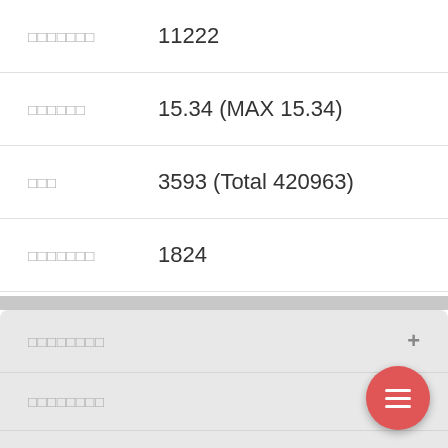| □□□□□□□ | 11222 |
| □□□□□□ | 15.34 (MAX 15.34) |
| □□□ | 3593 (Total 420963) |
| □□□□□□□ | 1824 |
| □□□□□□□ | 2001026279776 |
| □□□□ | 13+□14□□□□□□□ |
□□□□□□□□
□□□□□□□□
□□□□□□